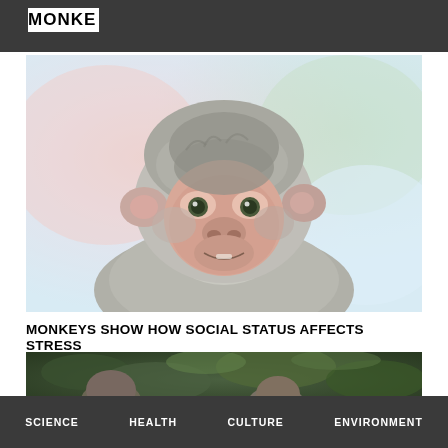MONKE
[Figure (photo): Close-up photo of a rhesus macaque monkey looking forward, with a soft blurred background of pink and green hues]
MONKEYS SHOW HOW SOCIAL STATUS AFFECTS STRESS
[Figure (photo): Partial photo of monkeys or primates in a leafy green outdoor environment]
SCIENCE   HEALTH   CULTURE   ENVIRONMENT